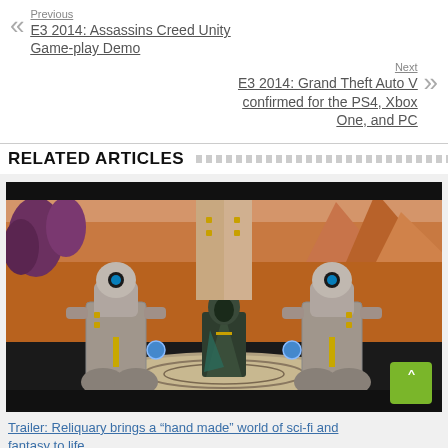Previous
E3 2014: Assassins Creed Unity Game-play Demo
Next
E3 2014: Grand Theft Auto V confirmed for the PS4, Xbox One, and PC
RELATED ARTICLES
[Figure (screenshot): Screenshot from a sci-fi/fantasy video game showing a robed character flanked by two large robot/mech units on a circular platform, with a reddish alien landscape in the background.]
Trailer: Reliquary brings a “hand made” world of sci-fi and fantasy to life